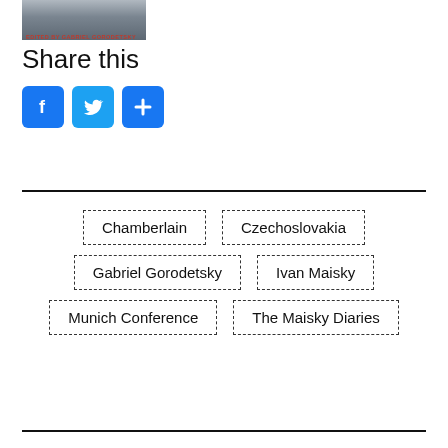[Figure (photo): Book cover image with text 'EDITED BY GABRIEL GORODETSKY' in red]
Share this
[Figure (infographic): Three social media share buttons: Facebook (blue), Twitter (blue), and a plus/more button (blue)]
Chamberlain
Czechoslovakia
Gabriel Gorodetsky
Ivan Maisky
Munich Conference
The Maisky Diaries